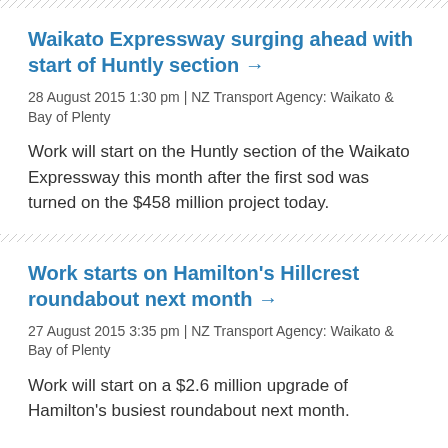Waikato Expressway surging ahead with start of Huntly section →
28 August 2015 1:30 pm | NZ Transport Agency: Waikato & Bay of Plenty
Work will start on the Huntly section of the Waikato Expressway this month after the first sod was turned on the $458 million project today.
Work starts on Hamilton's Hillcrest roundabout next month →
27 August 2015 3:35 pm | NZ Transport Agency: Waikato & Bay of Plenty
Work will start on a $2.6 million upgrade of Hamilton's busiest roundabout next month.